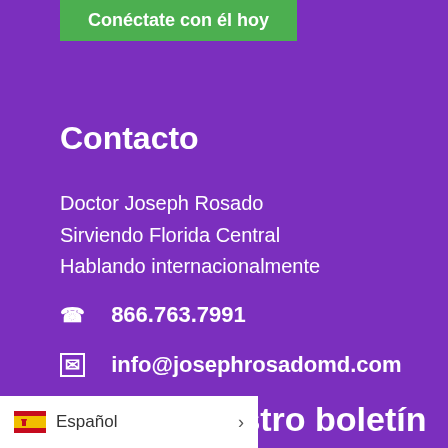Conéctate con él hoy
Contacto
Doctor Joseph Rosado
Sirviendo Florida Central
Hablando internacionalmente
866.763.7991
info@josephrosadomd.com
Recibe nuestro boletín
Español